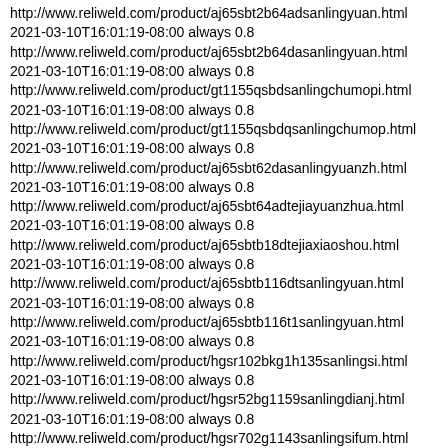http://www.reliweld.com/product/aj65sbt2b64adsanlingyuan.html
2021-03-10T16:01:19-08:00 always 0.8
http://www.reliweld.com/product/aj65sbt2b64dasanlingyuan.html
2021-03-10T16:01:19-08:00 always 0.8
http://www.reliweld.com/product/gt1155qsbdsanlingchumopi.html
2021-03-10T16:01:19-08:00 always 0.8
http://www.reliweld.com/product/gt1155qsbdqsanlingchumop.html
2021-03-10T16:01:19-08:00 always 0.8
http://www.reliweld.com/product/aj65sbt62dasanlingyuanzh.html
2021-03-10T16:01:19-08:00 always 0.8
http://www.reliweld.com/product/aj65sbt64adtejiayuanzhua.html
2021-03-10T16:01:19-08:00 always 0.8
http://www.reliweld.com/product/aj65sbtb18dtejiaxiaoshou.html
2021-03-10T16:01:19-08:00 always 0.8
http://www.reliweld.com/product/aj65sbtb116dtsanlingyuan.html
2021-03-10T16:01:19-08:00 always 0.8
http://www.reliweld.com/product/aj65sbtb116t1sanlingyuan.html
2021-03-10T16:01:19-08:00 always 0.8
http://www.reliweld.com/product/hgsr102bkg1h135sanlingsi.html
2021-03-10T16:01:19-08:00 always 0.8
http://www.reliweld.com/product/hgsr52bg1159sanlingdianj.html
2021-03-10T16:01:19-08:00 always 0.8
http://www.reliweld.com/product/hgsr702g1143sanlingsifum.html
2021-03-10T16:01:19-08:00 always 0.8
http://www.reliweld.com/product/aj65sbtb132dt1yuanzhuang.html
2021-03-10T16:01:19-08:00 always 0.8